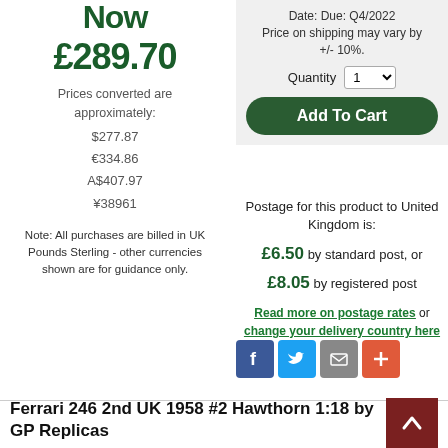Now £289.70
Prices converted are approximately:
$277.87
€334.86
A$407.97
¥38961
Note: All purchases are billed in UK Pounds Sterling - other currencies shown are for guidance only.
Date: Due: Q4/2022
Price on shipping may vary by +/- 10%.
Quantity 1
Add To Cart
Postage for this product to United Kingdom is:
£6.50 by standard post, or £8.05 by registered post
Read more on postage rates or change your delivery country here
[Figure (infographic): Social sharing icons: Facebook (blue), Twitter (light blue), Email (grey), Add/Plus (orange-red)]
Ferrari 246 2nd UK 1958 #2 Hawthorn 1:18 by GP Replicas
Description:    Ferrari 246 2nd UK 1958 #2 Hawthorn 1:18